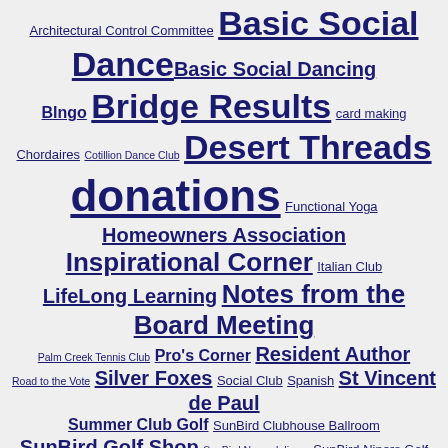Architectural Control Committee Basic Social Dance Basic Social Dancing BIngo Bridge Results card making Chordaires Cotillion Dance Club Desert Threads donations Functional Yoga Homeowners Association Inspirational Corner Italian Club LifeLong Learning Notes from the Board Meeting Palm Creek Tennis Club Pro's Corner Resident Author Road to the Vote Silver Foxes Social Club Spanish St Vincent de Paul Summer Club Golf SunBird Clubhouse Ballroom SunBird Golf Shop SunBird News delivery SunBird Niners Golf Club SunBird Patrol News SunBird Personalities SunBird Tai Chi SunBird Tai Chi Group SunBird Tennis Club SunBird ten pin bowling Sunday Night Couples Dance Club Sun Lakes Bike Club Sun Lakes Chandler Animal Clinic Sun Lakes Chapter of the Hearing Loss Association Sun Lakes Democratic